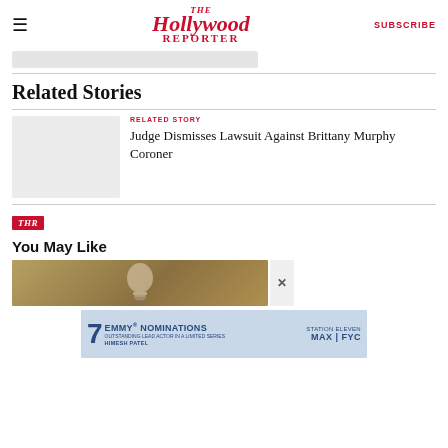The Hollywood Reporter | SUBSCRIBE
[Figure (photo): Gray placeholder image block]
Related Stories
RELATED STORY
Judge Dismisses Lawsuit Against Brittany Murphy Coroner
[Figure (logo): THR red italic logo badge]
You May Like
[Figure (photo): Golden/brown background with metallic bulb image, close X button]
[Figure (other): Advertisement banner: 7 EMMY NOMINATIONS STATION ELEVEN max FYC - OUTSTANDING LEAD ACTOR IN A LIMITED SERIES HIMESH PATEL]